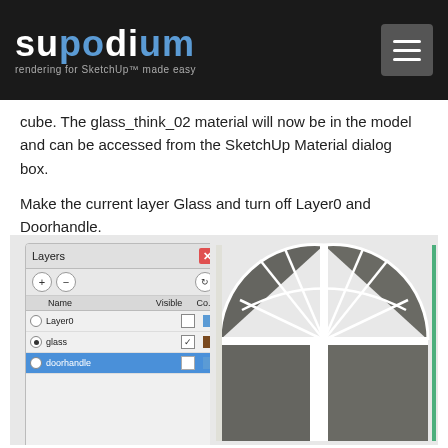supodium — rendering for SketchUp™ made easy
cube. The glass_think_02 material will now be in the model and can be accessed from the SketchUp Material dialog box.
Make the current layer Glass and turn off Layer0 and Doorhandle.
[Figure (screenshot): Screenshot showing SketchUp Layers panel with Layer0 (unchecked), glass (active, checked), and doorhandle (selected/highlighted in blue, unchecked). Beside it is a SketchUp viewport showing an arched door/window geometry in dark grey with white frame lines.]